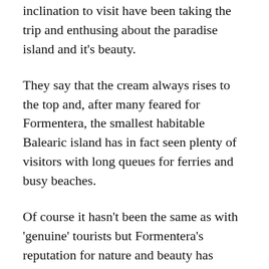inclination to visit have been taking the trip and enthusing about the paradise island and it's beauty.
They say that the cream always rises to the top and, after many feared for Formentera, the smallest habitable Balearic island has in fact seen plenty of visitors with long queues for ferries and busy beaches.
Of course it hasn't been the same as with 'genuine' tourists but Formentera's reputation for nature and beauty has soared and this is something that money simply can't buy. As the world gets busier you can always rely on the F-word to deliver in a calm and classy way.